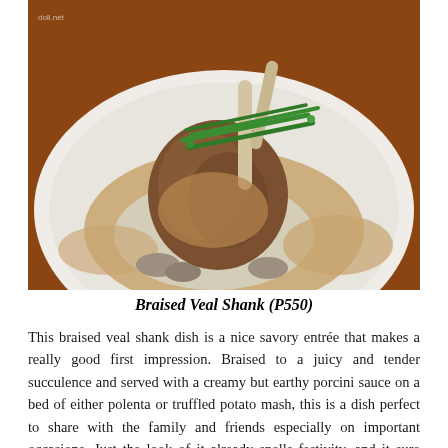[Figure (photo): A plated braised veal shank dish served on a white plate with mashed potatoes or polenta, brown porcini gravy sauce, mushrooms, and green bean garnish on top.]
Braised Veal Shank (P550)
This braised veal shank dish is a nice savory entrée that makes a really good first impression. Braised to a juicy and tender succulence and served with a creamy but earthy porcini sauce on a bed of either polenta or truffled potato mash, this is a dish perfect to share with the family and friends especially on important occasions. Just the look of it already spells festivity, and it sure packs a festive flavor